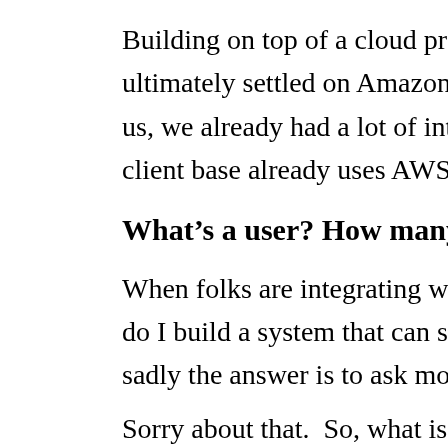Building on top of a cloud provider's infrastructure was the clear ultimately settled on Amazon Web Services - their feature set tic us, we already had a lot of internal expertise with AWS developm client base already uses AWS.  Easy choice.
What's a user? How many can we support?
When folks are integrating with SCORM Engine, a question that do I build a system that can serve X number of users?"  This is a sadly the answer is to ask more questions.  <audience groans>
Sorry about that.  So, what is a "user"?  This is a harder questior a "user" a single person?  Is it the sum total of that user's interac over a period of time?  How do we scale a system to serve a nu know what a user is?
When talking with our customers, it seemed like folks were mor